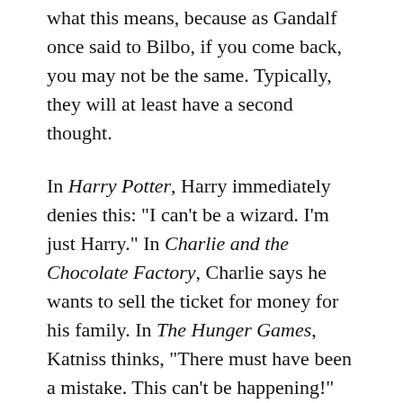what this means, because as Gandalf once said to Bilbo, if you come back, you may not be the same. Typically, they will at least have a second thought.
In Harry Potter, Harry immediately denies this: "I can't be a wizard. I'm just Harry." In Charlie and the Chocolate Factory, Charlie says he wants to sell the ticket for money for his family. In The Hunger Games, Katniss thinks, "There must have been a mistake. This can't be happening!" And in The Hobbit, Bilbo turns Gandalf down.
In some cases, if the Call to Adventure is something rather negative … say … a chance to cheat on your significant other, then the Refusal of the Call...